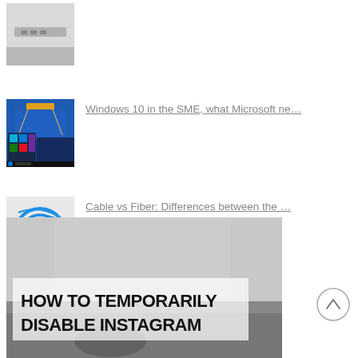[Figure (photo): Laptop port/side view, partially visible at top of page]
[Figure (screenshot): Windows 10 desktop on a laptop with city bridge wallpaper]
Windows 10 in the SME, what Microsoft ne…
[Figure (photo): Blue fiber optic cables coiled on a surface]
Cable vs Fiber: Differences between the …
[Figure (photo): Feature image: car dashboard interior background with text overlay HOW TO TEMPORARILY DISABLE INSTAGRAM]